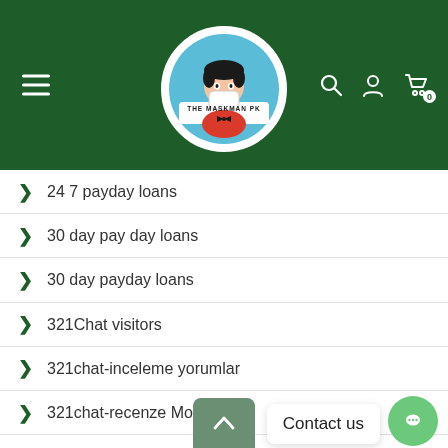[Figure (logo): The Maskman PK website header with dark green background, hamburger menu on left, circular logo in center showing a cartoon character wearing a mask (The Maskman PK), and search, user, and cart icons on the right]
24 7 payday loans
30 day pay day loans
30 day payday loans
321Chat visitors
321chat-inceleme yorumlar
321chat-recenze Mobile
40li-yaslarinda-tarihleme internet Γjzerinden
420 Dating service
420 Dating site
Contact us